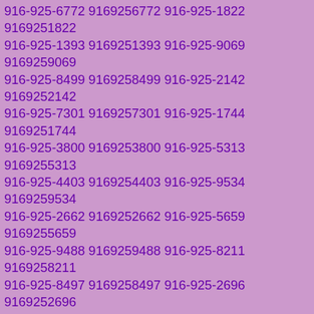916-925-6772 9169256772 916-925-1822 9169251822 916-925-1393 9169251393 916-925-9069 9169259069 916-925-8499 9169258499 916-925-2142 9169252142 916-925-7301 9169257301 916-925-1744 9169251744 916-925-3800 9169253800 916-925-5313 9169255313 916-925-4403 9169254403 916-925-9534 9169259534 916-925-2662 9169252662 916-925-5659 9169255659 916-925-9488 9169259488 916-925-8211 9169258211 916-925-8497 9169258497 916-925-2696 9169252696 916-925-5394 9169255394 916-925-9588 9169259588 916-925-6633 9169256633 916-925-0623 9169250623 916-925-6224 9169256224 916-925-4104 9169254104 916-925-0246 9169250246 916-925-5071 9169255071 916-925-3673 9169253673 916-925-7227 9169257227 916-925-3327 9169253327 916-925-1564 9169251564 916-925-3749 9169253749 916-925-7186 9169257186 916-925-9549 9169259549 916-925-3531 9169253531 916-925-7124 9169257124 916-925-3245 9169253245 916-925-2579 9169252579 916-925-3890 9169253890 916-925-5160 9169255160 916-925-4516 9169254516 916-925-9396 9169259396 916-925-9827 9169259827